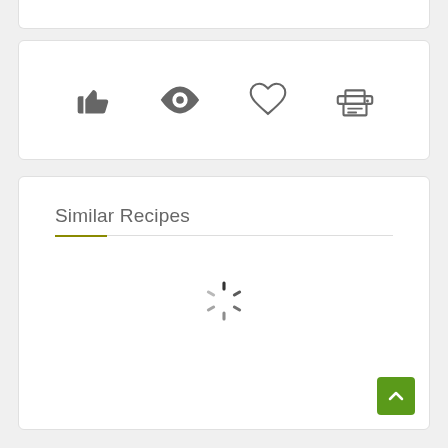[Figure (illustration): Top partial white card (bottom of previous section)]
[Figure (illustration): Action icon bar with thumbs-up, eye, heart, and printer icons in gray on white card]
Similar Recipes
[Figure (illustration): Loading spinner (circular dashed spinner) in the similar recipes section]
[Figure (illustration): Back to top arrow button (green square with upward chevron)]